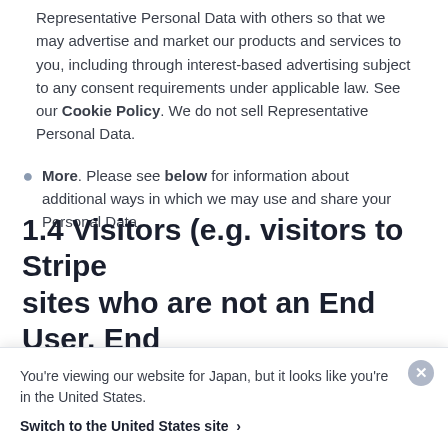Representative Personal Data with others so that we may advertise and market our products and services to you, including through interest-based advertising subject to any consent requirements under applicable law. See our Cookie Policy. We do not sell Representative Personal Data.
More. Please see below for information about additional ways in which we may use and share your Personal Data.
1.4 Visitors (e.g. visitors to Stripe sites who are not an End User, End
You're viewing our website for Japan, but it looks like you're in the United States.
Switch to the United States site ›
which we rely on for using (processing) your Personal